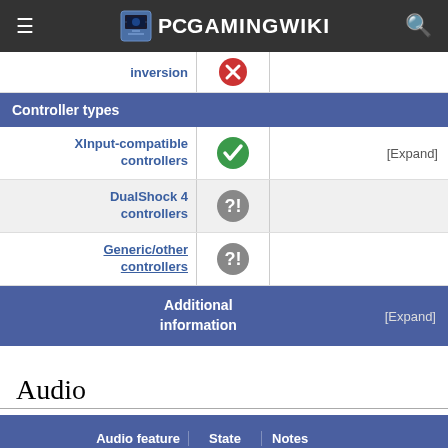PCGamingWiki
| Feature | State | Notes |
| --- | --- | --- |
| inversion | ❌ |  |
| Controller types |  |  |
| XInput-compatible controllers | ✓ | [Expand] |
| DualShock 4 controllers | ? |  |
| Generic/other controllers | ? |  |
| Additional information |  | [Expand] |
Audio
| Audio feature | State | Notes |
| --- | --- | --- |
| Separate volume controls | ✓ | In-game commentary, Stadium speakers, Crowd, On the field, Music, Menu SFX |